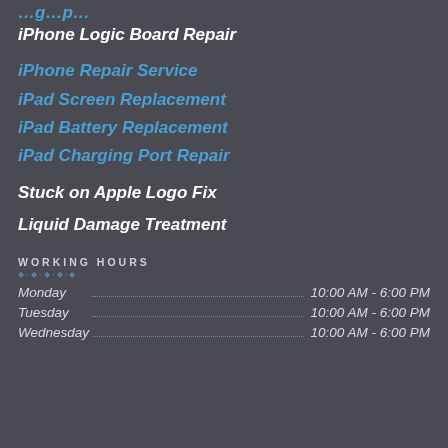iPhone Logic Board Repair
iPhone Repair Service
iPad Screen Replacement
iPad Battery Replacement
iPad Charging Port Repair
Stuck on Apple Logo Fix
Liquid Damage Treatment
WORKING HOURS
| Day | Hours |
| --- | --- |
| Monday | 10:00 AM - 6:00 PM |
| Tuesday | 10:00 AM - 6:00 PM |
| Wednesday | 10:00 AM - 6:00 PM |